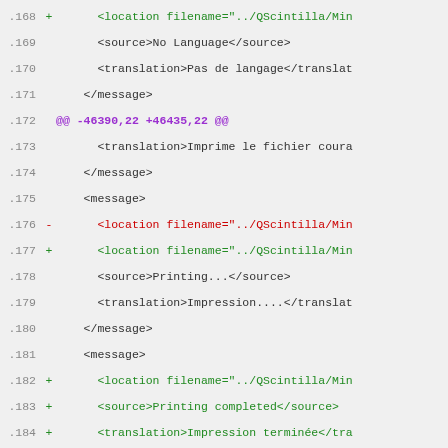Diff/code view showing lines 168–187 of a git diff for a Qt translation file (QScintilla/Min...). Lines include additions (+) in green, a deletion (-) in red, a hunk header (@@ -46390,22 +46435,22 @@) in purple, and context lines in dark/normal color.